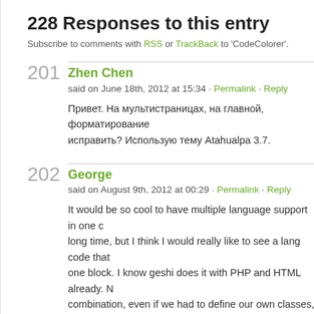228 Responses to this entry
Subscribe to comments with RSS or TrackBack to 'CodeColorer'.
201
Zhen Chen
said on June 18th, 2012 at 15:34 · Permalink · Reply
Привет. На мультистраницах, на главной, форматирование исправить? Использую тему Atahualpa 3.7.
202
George
said on August 9th, 2012 at 00:29 · Permalink · Reply
It would be so cool to have multiple language support in one code block. I have wanted this for a long time, but I think I would really like to see a lang code that would allow multiple languages in one block. I know geshi does it with PHP and HTML already. Maybe we can have a PHP|HTML|CSS combination, even if we had to define our own classes, colors etc.

Cheers bro, keep up the great work!